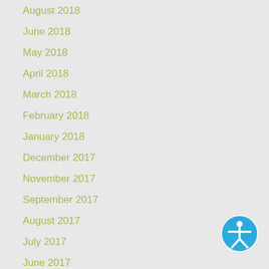August 2018
June 2018
May 2018
April 2018
March 2018
February 2018
January 2018
December 2017
November 2017
September 2017
August 2017
July 2017
June 2017
May 2017
April 2017
March 2017
February 2017
[Figure (illustration): Blue circular accessibility icon with a white human figure with arms outstretched, representing accessibility/disability access]